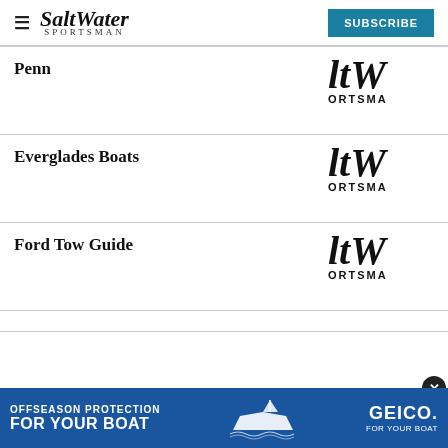SaltWater Sportsman — SUBSCRIBE
Penn
[Figure (logo): Salt Water Sportsman logo, partially cropped, black text on white, showing 'ltW' and 'ORTSMA']
Everglades Boats
[Figure (logo): Salt Water Sportsman logo, partially cropped, black text on white, showing 'ltW' and 'ORTSMA']
Ford Tow Guide
[Figure (logo): Salt Water Sportsman logo, partially cropped, black text on white, showing 'ltW' and 'ORTSMA']
[Figure (infographic): GEICO advertisement banner: 'OFFSEASON PROTECTION FOR YOUR BOAT' with GEICO logo and boat illustration, blue background]